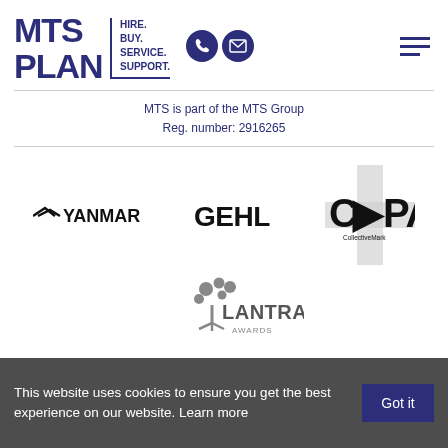[Figure (logo): MTS Plant logo with text HIRE. BUY. SERVICE. SUPPORT. and phone/email icons and hamburger menu]
MTS is part of the MTS Group
Reg. number: 2916265
[Figure (logo): Yanmar brand logo]
[Figure (logo): GEHL brand logo]
[Figure (logo): CPA CollectiveMark logo with grey cross background]
[Figure (logo): Lantra Awards logo with tree graphic]
This website uses cookies to ensure you get the best experience on our website. Learn more